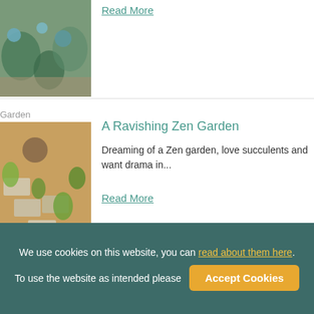[Figure (photo): Garden photo with succulents and gravel, partially cropped at top]
Read More
Garden
A Ravishing Zen Garden
[Figure (photo): Zen garden with stepping stones, succulents, and gravel]
Dreaming of a Zen garden, love succulents and want drama in...
Read More
Garden
A Mediterranean Raised Bed Idea
[Figure (photo): Mediterranean garden with blue-silver plants and trees]
These blue and silver plants show to advantage against the...
We use cookies on this website, you can read about them here. To use the website as intended please Accept Cookies